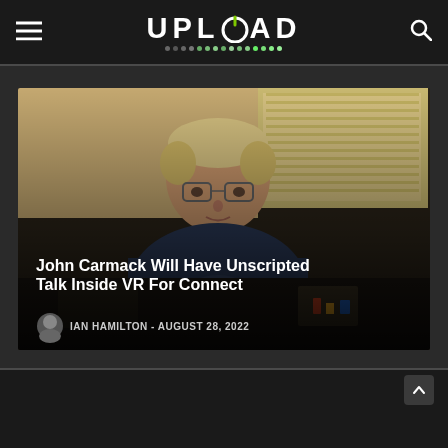UPLOAD
[Figure (photo): John Carmack, a man with short blonde hair and glasses, wearing a dark blue graphic t-shirt, sitting in front of a window with blinds and dark background. Article card thumbnail.]
John Carmack Will Have Unscripted Talk Inside VR For Connect
IAN HAMILTON - AUGUST 28, 2022